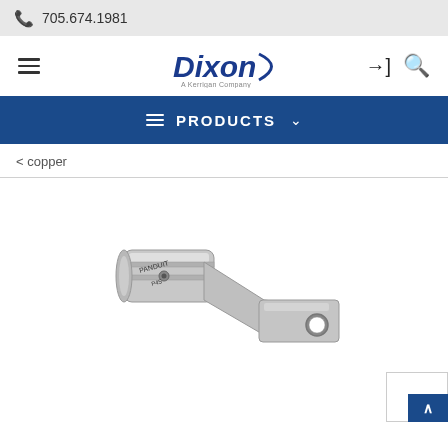705.674.1981
[Figure (logo): Dixon company logo with italic bold text and swoosh arc]
PRODUCTS
< copper
[Figure (photo): A silver/nickel copper compression lug terminal connector with cylindrical barrel end and flat tongue with hole, labeled PANDUIT P45]